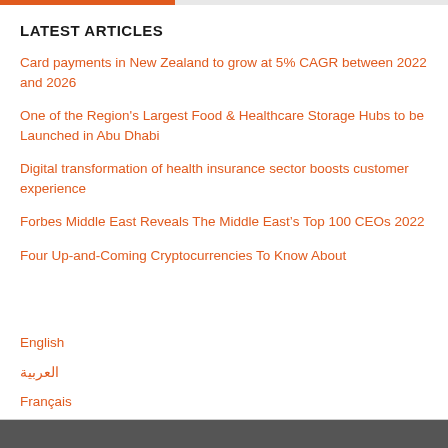LATEST ARTICLES
Card payments in New Zealand to grow at 5% CAGR between 2022 and 2026
One of the Region's Largest Food & Healthcare Storage Hubs to be Launched in Abu Dhabi
Digital transformation of health insurance sector boosts customer experience
Forbes Middle East Reveals The Middle East’s Top 100 CEOs 2022
Four Up-and-Coming Cryptocurrencies To Know About
English
العربية
Français